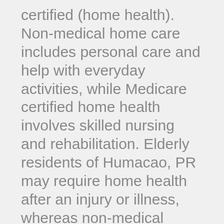certified (home health). Non-medical home care includes personal care and help with everyday activities, while Medicare certified home health involves skilled nursing and rehabilitation. Elderly residents of Humacao, PR may require home health after an injury or illness, whereas non-medical home care is provided long-term to seniors with declining physical and mental abilities. This directory includes agencies near Humacao, PR and the surrounding areas. It's not uncommon for agencies to cover multiple counties. Pay close attention to minimum hours and